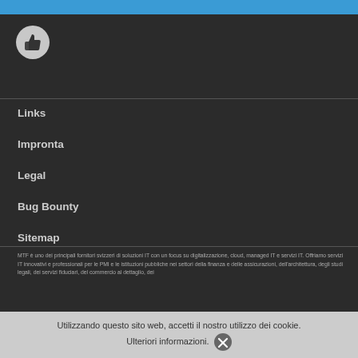[Figure (logo): Thumbs up icon in a circle on dark background with blue top bar]
Links
Impronta
Legal
Bug Bounty
Sitemap
MTF è uno dei principali fornitori svizzeri di soluzioni IT con un focus su digitalizzazione, cloud, managed IT e servizi IT. Offriamo servizi IT innovativi e professionali per le PMI e le istituzioni pubbliche nei settori della finanza e delle assicurazioni, dell'architettura, degli studi legali, dei servizi fiduciari, del commercio al dettaglio, dei
Utilizzando questo sito web, accetti il nostro utilizzo dei cookie. Ulteriori informazioni.